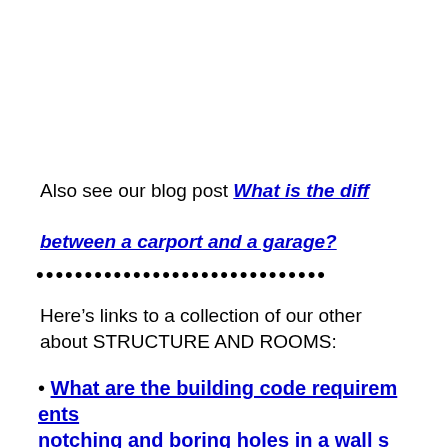Also see our blog post What is the difference between a carport and a garage?
••••••••••••••••••••••••••••••
Here's links to a collection of our other about STRUCTURE AND ROOMS:
• What are the building code requirements notching and boring holes in a wall s…